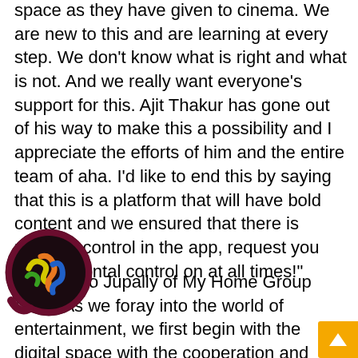space as they have given to cinema. We are new to this and are learning at every step. We don't know what is right and what is not. And we really want everyone's support for this. Ajit Thakur has gone out of his way to make this a possibility and I appreciate the efforts of him and the entire team of aha. I'd like to end this by saying that this is a platform that will have bold content and we ensured that there is parental control in the app, request you have parental control on at all times!"
Ramu Rao Jupally of My Home Group said, "As we foray into the world of entertainment, we first begin with the digital space with the cooperation and collaboration of Allu Arvind garu who first proposed the idea. He has been working really hard from the last 8 months, with the support of Ajit. With the intention to make the 100% Telugu entertainment platform accessible to everyone, we have a subscription pricing of Rs 1 a day / Rs. 365 a year!"
[Figure (logo): Circular logo with dark maroon border containing colorful worm/snake icons on dark background, resembling a messaging app logo]